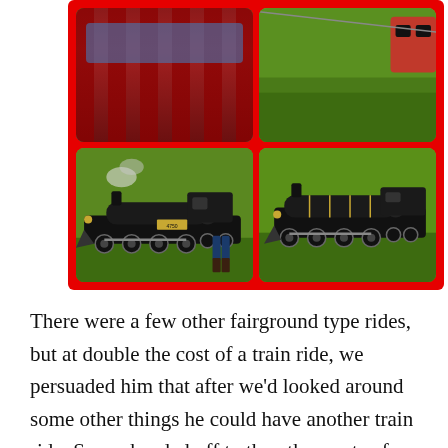[Figure (photo): A red-bordered photo collage of four images showing miniature steam locomotives (numbered 4750) and a child riding in a red model railway carriage on grass.]
There were a few other fairground type rides, but at double the cost of a train ride, we persuaded him that after we'd looked around some other things he could have another train ride. So we headed off to the other parts of the